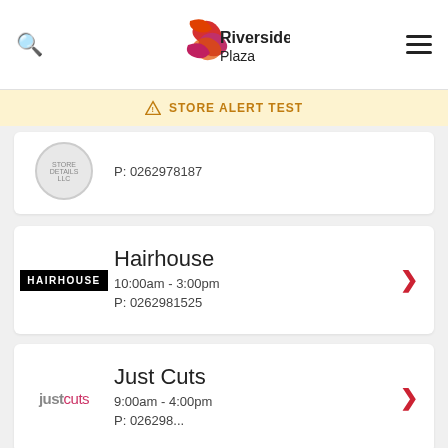Riverside Plaza
⚠ STORE ALERT TEST
P: 0262978187
Hairhouse
10:00am - 3:00pm
P: 0262981525
Just Cuts
9:00am - 4:00pm